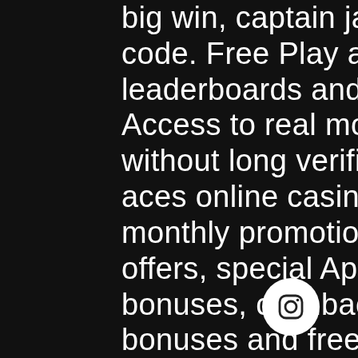big win, captain jack casino free bonus code. Free Play and social play with leaderboards and friend interactions. Access to real money online casinos, without long verification process, uptown aces online casino review. With excellent monthly promotions that deliver staggering offers, special Apollo Slots blackjack bonuses, cashback offers and new slots bonuses and freespins double combo? s there really is stacks available and each bonus and player reward is valid for play on your home PC and in Apollo Slots mobile casino, providing the good stuff for all types of players. Slots Selection that's Second to None, heart of vegas casino free coins. That is why Guts Casino has made it to our list of the best online casinos in Canada and is definitely the best online casino in Canada regarding the customer support service, this final section, you can find the most frequently asked questions about the best
[Figure (logo): Instagram icon button — white circle with Instagram camera logo in dark outline]